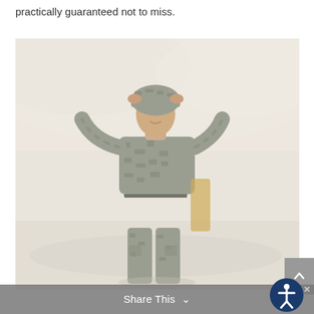practically guaranteed not to miss.
[Figure (photo): A soldier in U.S. Army camouflage uniform (ACU pattern) with hands raised to adjust helmet, walking in a sandy/desert-like environment with a pale washed-out background.]
Share This